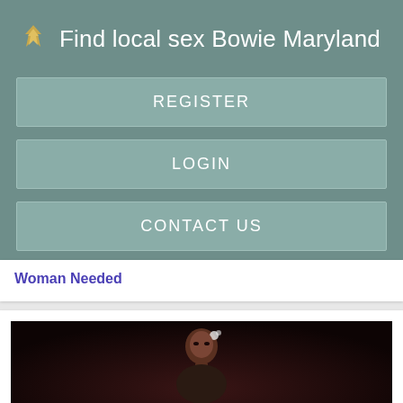Find local sex Bowie Maryland
REGISTER
LOGIN
CONTACT US
Woman Needed
[Figure (photo): Woman with flower in hair, dark background, Register NOW text at bottom]